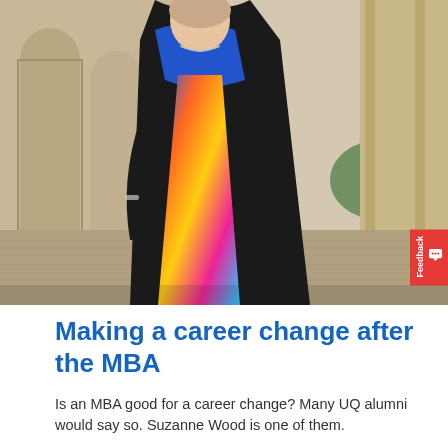[Figure (photo): Woman in black graduation gown with blue hood, wearing a colorful dress underneath, standing in front of sandstone arched colonnade building (University of Queensland campus)]
Making a career change after the MBA
Is an MBA good for a career change? Many UQ alumni would say so. Suzanne Wood is one of them.